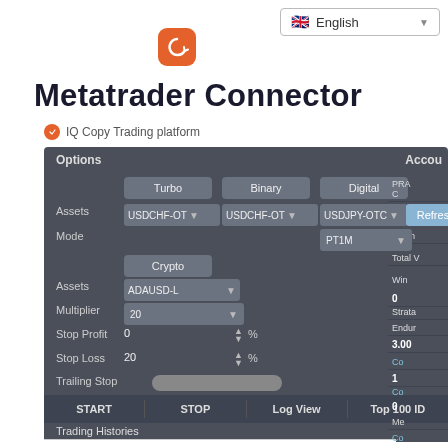[Figure (logo): Orange rounded square logo icon with white circular arrow symbol]
Metatrader Connector
IQ Copy Trading platform
[Figure (screenshot): Trading connector UI panel showing Options with Turbo/Binary/Digital columns, Assets rows (USDCHF-OT, USDJPY-OTC), Mode (PT1M), Crypto section with ADAUSD-L asset, Multiplier 20, Stop Profit 0%, Stop Loss 20%, Trailing Stop toggle, START/STOP/Log View/Top 100 ID buttons, Trading Histories log area showing Refresh Please wait... and Refresh Done messages]